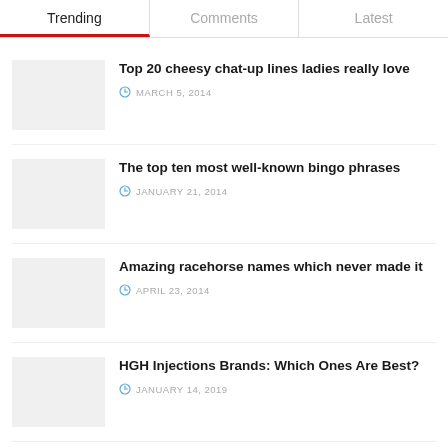Trending | Comments | Latest
Top 20 cheesy chat-up lines ladies really love — MARCH 5, 2014
The top ten most well-known bingo phrases — JANUARY 21, 2014
Amazing racehorse names which never made it — APRIL 23, 2014
HGH Injections Brands: Which Ones Are Best? — JANUARY 14, 2019
Recent News